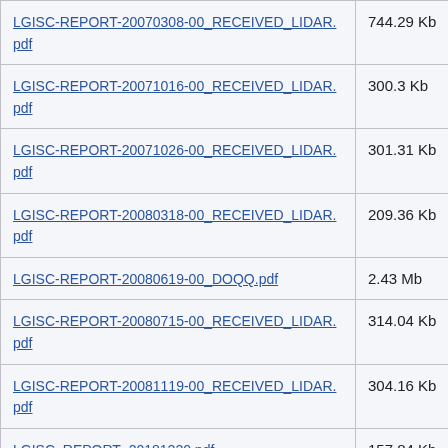| Filename | Size |
| --- | --- |
| LGISC-REPORT-20070308-00_RECEIVED_LIDAR.pdf | 744.29 Kb |
| LGISC-REPORT-20071016-00_RECEIVED_LIDAR.pdf | 300.3 Kb |
| LGISC-REPORT-20071026-00_RECEIVED_LIDAR.pdf | 301.31 Kb |
| LGISC-REPORT-20080318-00_RECEIVED_LIDAR.pdf | 209.36 Kb |
| LGISC-REPORT-20080619-00_DOQQ.pdf | 2.43 Mb |
| LGISC-REPORT-20080715-00_RECEIVED_LIDAR.pdf | 314.04 Kb |
| LGISC-REPORT-20081119-00_RECEIVED_LIDAR.pdf | 304.16 Kb |
| LGISC_REPORT_20181220.pdf | 157.84 Kb |